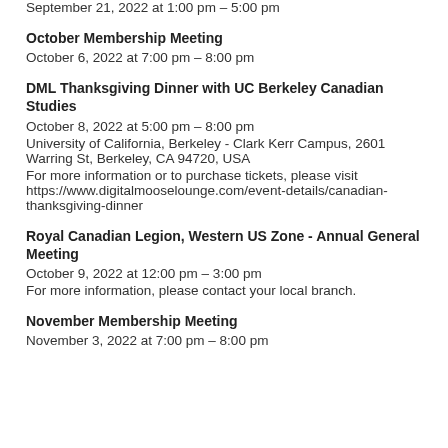September 21, 2022 at 1:00 pm – 5:00 pm
October Membership Meeting
October 6, 2022 at 7:00 pm – 8:00 pm
DML Thanksgiving Dinner with UC Berkeley Canadian Studies
October 8, 2022 at 5:00 pm – 8:00 pm
University of California, Berkeley - Clark Kerr Campus, 2601 Warring St, Berkeley, CA 94720, USA
For more information or to purchase tickets, please visit https://www.digitalmooselounge.com/event-details/canadian-thanksgiving-dinner
Royal Canadian Legion, Western US Zone - Annual General Meeting
October 9, 2022 at 12:00 pm – 3:00 pm
For more information, please contact your local branch.
November Membership Meeting
November 3, 2022 at 7:00 pm – 8:00 pm